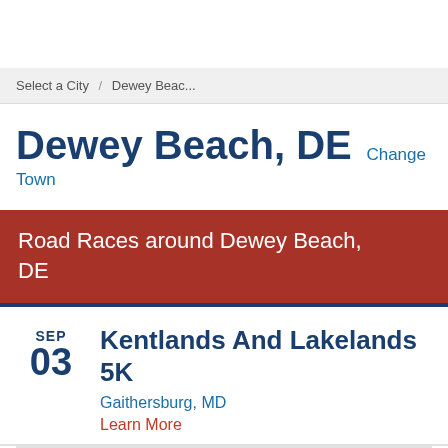Select a City / Dewey Beac...
Dewey Beach, DE Change Town
Road Races around Dewey Beach, DE
SEP 03 Kentlands And Lakelands 5K Gaithersburg, MD Learn More